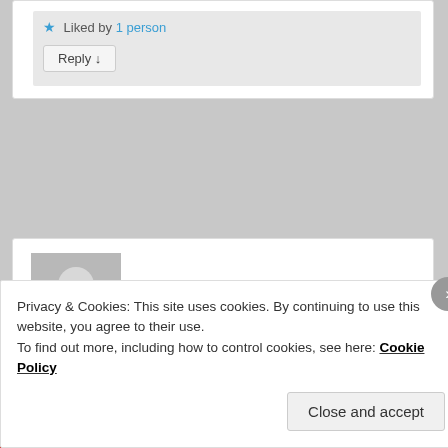★ Liked by 1 person
Reply ↓
[Figure (illustration): Default grey avatar/user placeholder image]
Julie on April 30, 2015 at 6:27 AM said:
HI Esmee
Do you use a crock pot lined with teflon or
Privacy & Cookies: This site uses cookies. By continuing to use this website, you agree to their use.
To find out more, including how to control cookies, see here: Cookie Policy
Close and accept